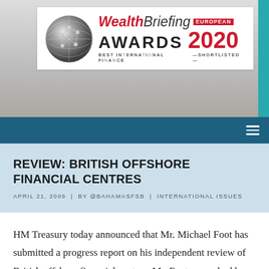[Figure (logo): WealthBriefing European Awards 2020 — Best International Finance — Shortlisted banner with globe logo]
REVIEW: BRITISH OFFSHORE FINANCIAL CENTRES
APRIL 21, 2009  |  BY @BAHAMASFSB  |  INTERNATIONAL ISSUES
HM Treasury today announced that Mr. Michael Foot has submitted a progress report on his independent review of British offshore financial centres. Mr. Foot was asked by the Chancellor of